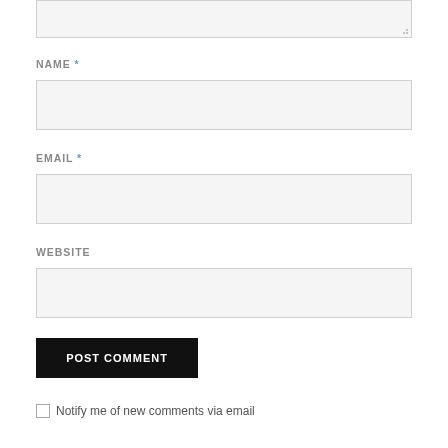[Figure (screenshot): Bottom of a web comment form showing a textarea (partially visible at top), NAME field with red asterisk, EMAIL field with red asterisk, WEBSITE field, POST COMMENT button, and a 'Notify me of new comments via email' checkbox.]
NAME *
EMAIL *
WEBSITE
POST COMMENT
Notify me of new comments via email